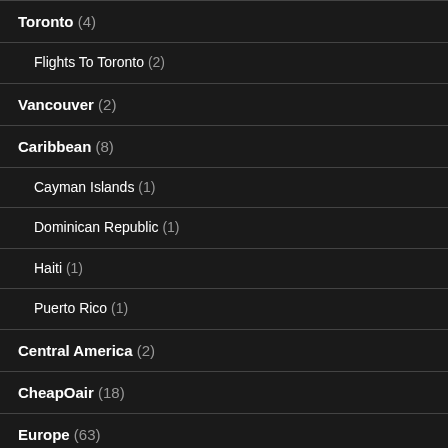Toronto (4)
Flights To Toronto (2)
Vancouver (2)
Caribbean (8)
Cayman Islands (1)
Dominican Republic (1)
Haiti (1)
Puerto Rico (1)
Central America (2)
CheapOair (18)
Europe (63)
Croatia (1)